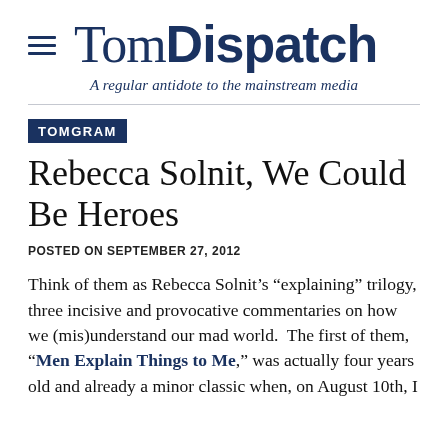TomDispatch
A regular antidote to the mainstream media
TOMGRAM
Rebecca Solnit, We Could Be Heroes
POSTED ON SEPTEMBER 27, 2012
Think of them as Rebecca Solnit’s “explaining” trilogy, three incisive and provocative commentaries on how we (mis)understand our mad world.  The first of them, “Men Explain Things to Me,” was actually four years old and already a minor classic when, on August 10th, I